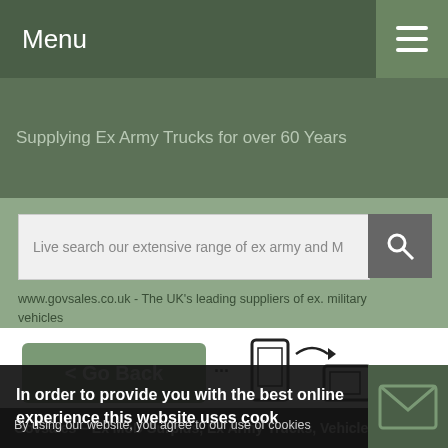Menu
Supplying Ex Army Trucks for over 60 Years
Live search our extensive range of ex army and M
www.govsales.co.uk - The UK's leading suppliers of ex. military vehicles
< Go Back
[Figure (illustration): Screen rotation icon showing a phone rotating to landscape mode]
Govsales - Ex MoD Surplus, Ex Army Trucks, Vehicles & Eq
Volvo fo
In order to provide you with the best online experience this website uses cook
By using our website, you agree to our use of cookies